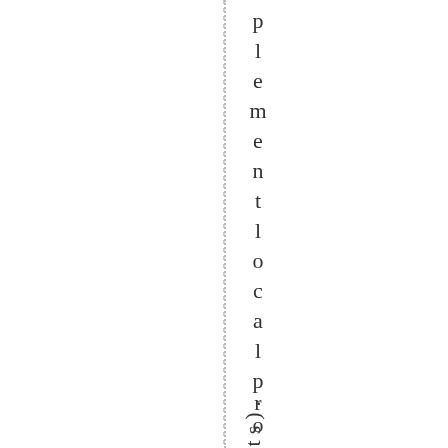plementation local projects).
When th